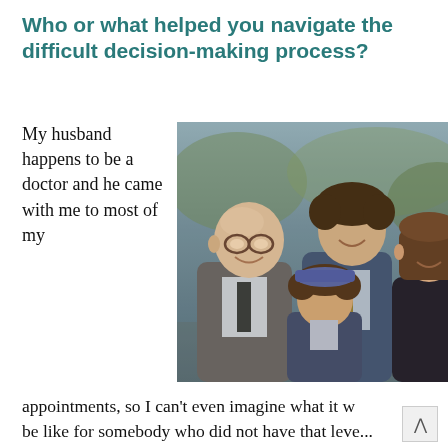Who or what helped you navigate the difficult decision-making process?
My husband happens to be a doctor and he came with me to most of my
[Figure (photo): Family photo showing a bald man with glasses in a suit, a teenage boy with curly hair in a suit and tie, a younger boy with curly hair wearing a cap and suit, and a woman with straight hair in a dark jacket, all smiling together outdoors.]
appointments, so I can't even imagine what it w be like for somebody who did not have that leve...